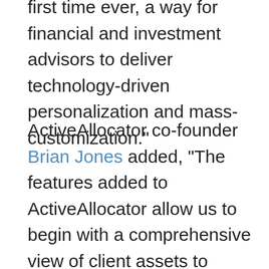first time ever, a way for financial and investment advisors to deliver technology-driven personalization and mass-customization."
ActiveAllocator co-founder Brian Jones added, "The features added to ActiveAllocator allow us to begin with a comprehensive view of client assets to diagnose existing holdings. From there, we instantly search, recognize, classify and map securities to precise granular asset subclasses. Adding personalized investor preferences, we demonstrate specific asset allocation inefficiencies and offer optimized recommended portfolios. The ability for financial and investment advisors to deliver this sort of electronic optimization and mass customization will change forever the standards